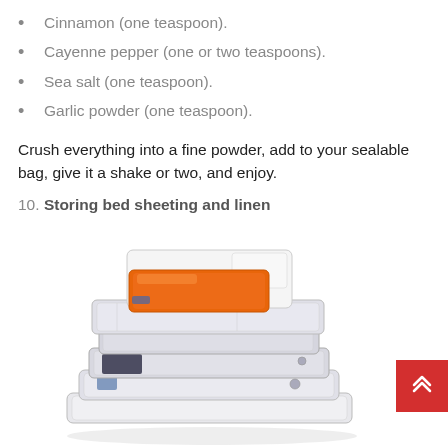Cinnamon (one teaspoon).
Cayenne pepper (one or two teaspoons).
Sea salt (one teaspoon).
Garlic powder (one teaspoon).
Crush everything into a fine powder, add to your sealable bag, give it a shake or two, and enjoy.
10. Storing bed sheeting and linen
[Figure (photo): A stack of vacuum-sealed storage bags containing bed sheets and linens, with an orange bag on top and progressively larger flat bags below.]